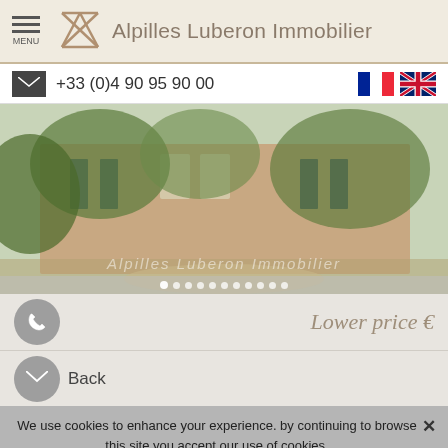MENU  Alpilles Luberon Immobilier
+33 (0)4 90 95 90 00
[Figure (photo): Exterior photo of a stone Provençal house covered in green climbing plants with blue shutters. Watermark reads Alpilles Luberon Immobilier.]
Lower price €
Back
We use cookies to enhance your experience. by continuing to browse this site you accept our use of cookies.
Learn more